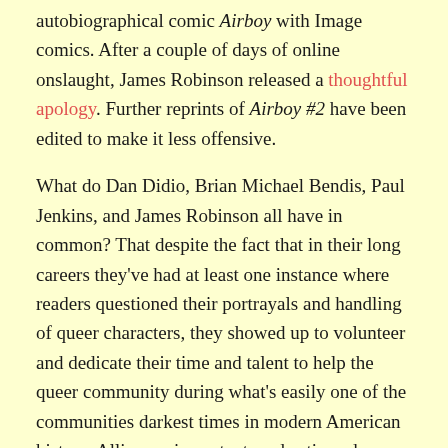autobiographical comic Airboy with Image comics. After a couple of days of online onslaught, James Robinson released a thoughtful apology. Further reprints of Airboy #2 have been edited to make it less offensive.
What do Dan Didio, Brian Michael Bendis, Paul Jenkins, and James Robinson all have in common? That despite the fact that in their long careers they've had at least one instance where readers questioned their portrayals and handling of queer characters, they showed up to volunteer and dedicate their time and talent to help the queer community during what's easily one of the communities darkest times in modern American history. Allies are important, and actions do speak louder than words. And although they may have had missteps, they showed up when it counted the most and that needs to be recognized and celebrated.
While it is important to highlight allies, I would feel